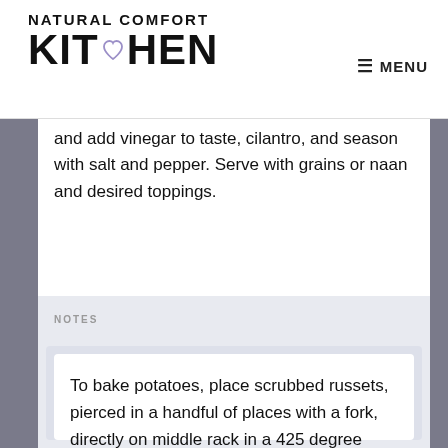NATURAL COMFORT KITCHEN — MENU
and add vinegar to taste, cilantro, and season with salt and pepper. Serve with grains or naan and desired toppings.
NOTES
To bake potatoes, place scrubbed russets, pierced in a handful of places with a fork, directly on middle rack in a 425 degree oven. Bake 45 to 60 minutes, until easily pierced with a paring knife. The baked potatoes are key in this curry, because the starch thickens the sauce quickly!